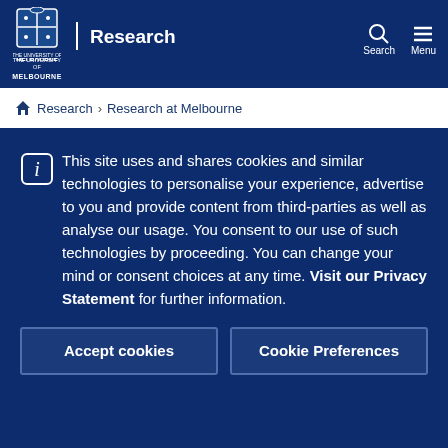The University of Melbourne — Research — Search — Menu
Home > Research > Research at Melbourne
This site uses and shares cookies and similar technologies to personalise your experience, advertise to you and provide content from third-parties as well as analyse our usage. You consent to our use of such technologies by proceeding. You can change your mind or consent choices at any time. Visit our Privacy Statement for further information.
Accept cookies
Cookie Preferences